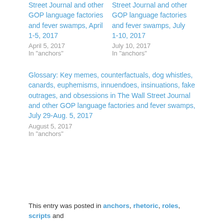Glossary: Key memes, counterfactuals, dog whistles, canards, euphemisms, innuendoes, insinuations, fake outrages, and obsessions in The Wall Street Journal and other GOP language factories and fever swamps, April 1-5, 2017
April 5, 2017
In "anchors"
Glossary: Key memes, counterfactuals, dog whistles, canards, euphemisms, innuendoes, insinuations, fake outrages, and obsessions in The Wall Street Journal and other GOP language factories and fever swamps, July 1-10, 2017
July 10, 2017
In "anchors"
Glossary: Key memes, counterfactuals, dog whistles, canards, euphemisms, innuendoes, insinuations, fake outrages, and obsessions in The Wall Street Journal and other GOP language factories and fever swamps, July 29-Aug. 5, 2017
August 5, 2017
In "anchors"
This entry was posted in anchors, rhetoric, roles, scripts and